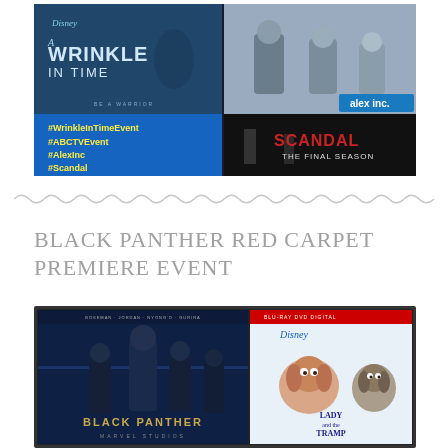[Figure (photo): Composite promotional image showing Disney's A Wrinkle In Time movie poster on top left, Alex Inc. TV show cast photo on top right, hashtags #WrinkleInTimeEvent #ABCTVEvent #AlexInc #Scandal on blue background bottom left, and Scandal The Final Season promo image bottom right]
BLACK PANTHER RED CARPET PREMIERE EVENT
[Figure (photo): Composite image showing Black Panther movie poster on the left and Disney's Lady and the Tramp Blu-ray/DVD/Digital cover on the right]